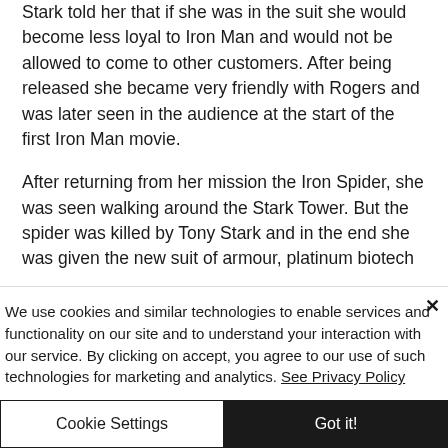Stark told her that if she was in the suit she would become less loyal to Iron Man and would not be allowed to come to other customers. After being released she became very friendly with Rogers and was later seen in the audience at the start of the first Iron Man movie.
After returning from her mission the Iron Spider, she was seen walking around the Stark Tower. But the spider was killed by Tony Stark and in the end she was given the new suit of armour, platinum biotech
We use cookies and similar technologies to enable services and functionality on our site and to understand your interaction with our service. By clicking on accept, you agree to our use of such technologies for marketing and analytics. See Privacy Policy